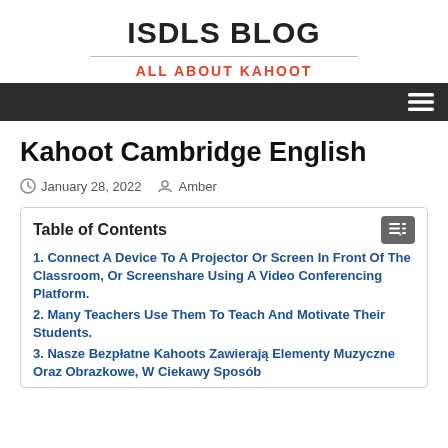ISDLS BLOG
ALL ABOUT KAHOOT
Kahoot Cambridge English
January 28, 2022   Amber
Table of Contents
1. Connect A Device To A Projector Or Screen In Front Of The Classroom, Or Screenshare Using A Video Conferencing Platform.
2. Many Teachers Use Them To Teach And Motivate Their Students.
3. Nasze Bezpłatne Kahoots Zawierają Elementy Muzyczne Oraz Obrazkowe, W Ciekawy Sposób